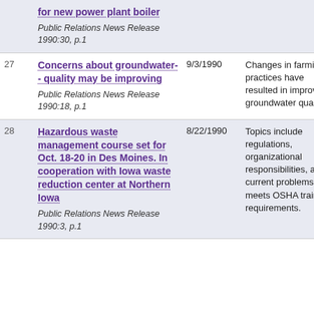| # | Title | Date | Description |
| --- | --- | --- | --- |
|  | for new power plant boiler
Public Relations News Release 1990:30, p.1 |  |  |
| 27 | Concerns about groundwater-- quality may be improving
Public Relations News Release 1990:18, p.1 | 9/3/1990 | Changes in farming practices have resulted in improved groundwater quality. |
| 28 | Hazardous waste management course set for Oct. 18-20 in Des Moines. In cooperation with Iowa waste reduction center at Northern Iowa
Public Relations News Release 1990:3, p.1 | 8/22/1990 | Topics include regulations, organizational responsibilities, and current problems; meets OSHA training requirements. |